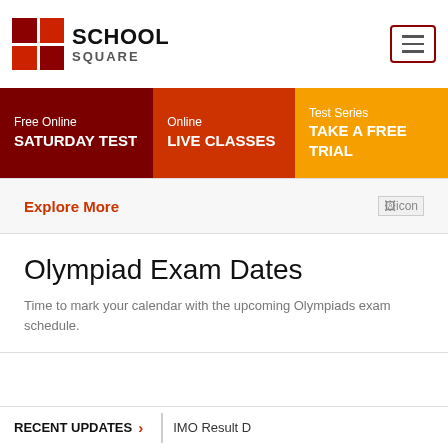[Figure (logo): School Square logo with red checkered grid and bold text SCHOOL SQUARE]
Free Online SATURDAY TEST | Online LIVE CLASSES | Test Series TAKE A FREE TRIAL
Explore More
Olympiad Exam Dates
Time to mark your calendar with the upcoming Olympiads exam schedule.
RECENT UPDATES > IMO Result D